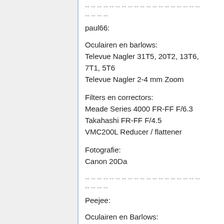-- -- -- -- -- -- -- -- -- -- -- -- -- -- -- -- -- -- --
-- -- -- --
paul66:
Oculairen en barlows:
Televue Nagler 31T5, 20T2, 13T6, 7T1, 5T6
Televue Nagler 2-4 mm Zoom
Filters en correctors:
Meade Series 4000 FR-FF F/6.3
Takahashi FR-FF F/4.5
VMC200L Reducer / flattener
Fotografie:
Canon 20Da
-- -- -- -- -- -- -- -- -- -- -- -- -- -- -- -- -- -- --
-- -- -- --
Peejee:
Oculairen en Barlows:
10 en 25 mm Super Plössl
7 mm TS HR7 planetary